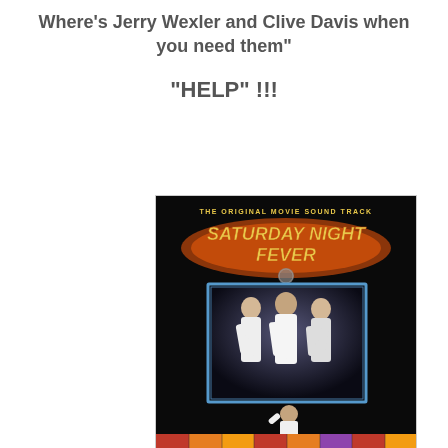Where's Jerry Wexler and Clive Davis when you need them"
"HELP" !!!
[Figure (photo): Album cover of the Saturday Night Fever Original Movie Soundtrack showing the Bee Gees in a framed photo and a disco dancer in white suit on a colorful dance floor]